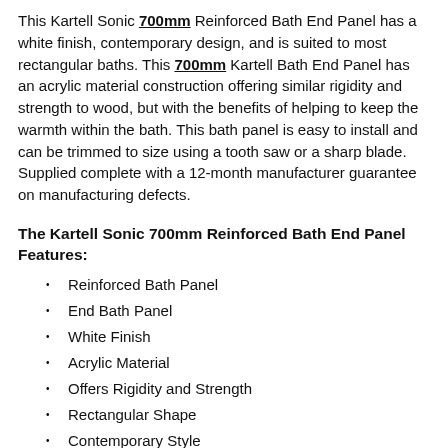This Kartell Sonic 700mm Reinforced Bath End Panel has a white finish, contemporary design, and is suited to most rectangular baths. This 700mm Kartell Bath End Panel has an acrylic material construction offering similar rigidity and strength to wood, but with the benefits of helping to keep the warmth within the bath. This bath panel is easy to install and can be trimmed to size using a tooth saw or a sharp blade. Supplied complete with a 12-month manufacturer guarantee on manufacturing defects.
The Kartell Sonic 700mm Reinforced Bath End Panel Features:
Reinforced Bath Panel
End Bath Panel
White Finish
Acrylic Material
Offers Rigidity and Strength
Rectangular Shape
Contemporary Style